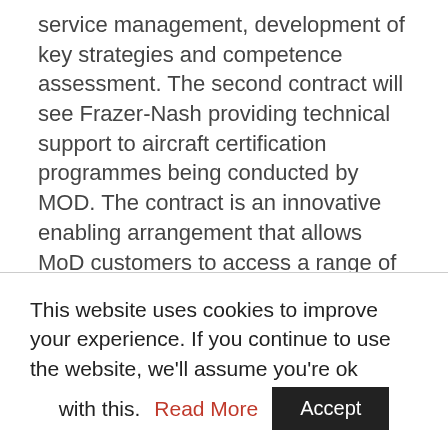service management, development of key strategies and competence assessment. The second contract will see Frazer-Nash providing technical support to aircraft certification programmes being conducted by MOD. The contract is an innovative enabling arrangement that allows MoD customers to access a range of subject matter experts, either directly from the Frazer-Nash team or from a wide range of niche specialists. A key benefit that Frazer-Nash offers is its specialist knowledge in dealing with certification compliance and understanding of equivalence between certification specifications.
This website uses cookies to improve your experience. If you continue to use the website, we'll assume you're ok with this. Read More Accept